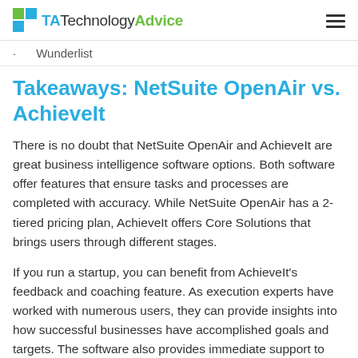TechnologyAdvice
Wunderlist
Takeaways: NetSuite OpenAir vs. AchieveIt
There is no doubt that NetSuite OpenAir and AchieveIt are great business intelligence software options. Both software offer features that ensure tasks and processes are completed with accuracy. While NetSuite OpenAir has a 2-tiered pricing plan, AchieveIt offers Core Solutions that brings users through different stages.
If you run a startup, you can benefit from AchieveIt's feedback and coaching feature. As execution experts have worked with numerous users, they can provide insights into how successful businesses have accomplished goals and targets. The software also provides immediate support to help with reports